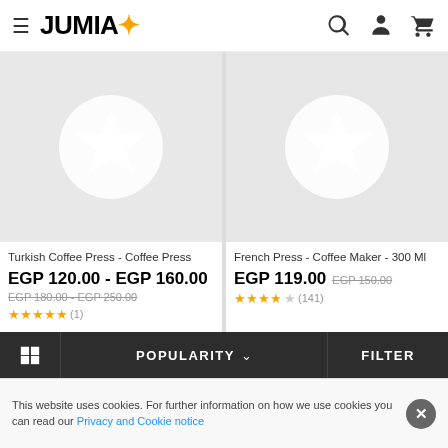JUMIA
[Figure (screenshot): Product image placeholder for Turkish Coffee Press - star icon in circle on gray background]
Turkish Coffee Press - Coffee Press
EGP 120.00 - EGP 160.00
EGP 180.00 - EGP 250.00
★★★★★ (1)
[Figure (screenshot): Product image placeholder for French Press - star icon in circle on gray background]
French Press - Coffee Maker - 300 Ml
EGP 119.00 EGP 150.00
★★★★½ (141)
POPULARITY ∨ FILTER
This website uses cookies. For further information on how we use cookies you can read our Privacy and Cookie notice